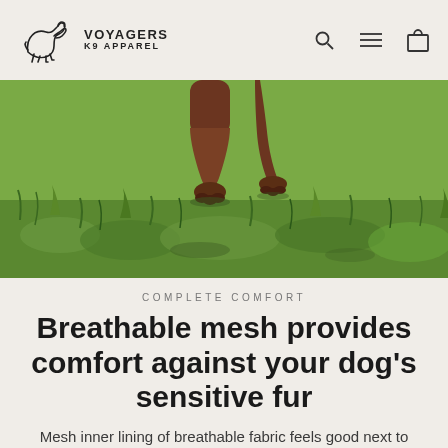VOYAGERS K9 APPAREL
[Figure (photo): Close-up photo of a dog's legs and paws running on green grass, shot from low angle]
COMPLETE COMFORT
Breathable mesh provides comfort against your dog's sensitive fur
Mesh inner lining of breathable fabric feels good next to dog's fur. A microporous film blocks wind and water for a